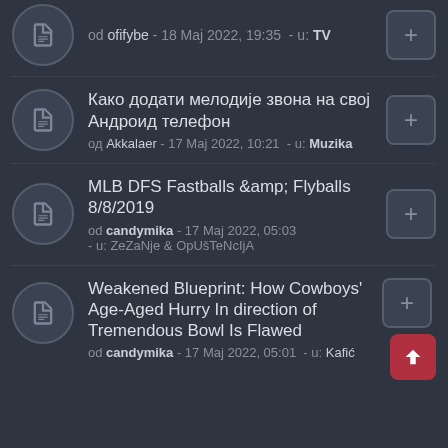od ofifybe - 18 Maj 2022, 19:35 - u: TV
Како додати мелодије звона на свој Андроид телефон
од Akkalaer - 17 Maj 2022, 10:21 - u: Muzika
MLB DFS Fastballs &amp; Flyballs 8/8/2019
od candymika - 17 Maj 2022, 05:03 - u: ZeZaNje & OpUšTeNcIjA
Weakened Blueprint: How Cowboys' Age-Aged Hurry In direction of Tremendous Bowl Is Flawed
od candymika - 17 Maj 2022, 05:01 - u: Kafić